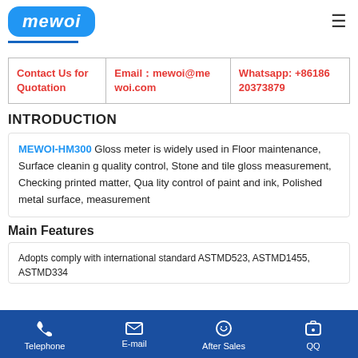[Figure (logo): MEWOI brand logo in blue rounded rectangle with white italic text]
| Contact Us for Quotation | Email：mewoi@mewoi.com | Whatsapp: +8618620373879 |
INTRODUCTION
MEWOI-HM300 Gloss meter is widely used in Floor maintenance, Surface cleaning quality control, Stone and tile gloss measurement, Checking printed matter, Quality control of paint and ink, Polished metal surface, measurement
Main Features
Adopts comply with international standard ASTMD523, ASTMD1455, ASTMD334...
Telephone   E-mail   After Sales   QQ